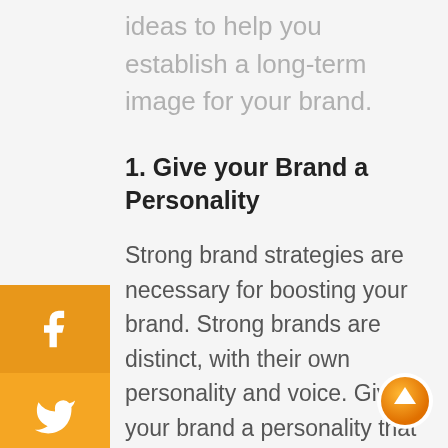ideas to help you establish a long-term image for your brand.
1. Give your Brand a Personality
Strong brand strategies are necessary for boosting your brand. Strong brands are distinct, with their own personality and voice. Giving your brand a personality that is authentic to your brand and resonates with your target demographic is
[Figure (infographic): Social media sidebar icons: Facebook (orange), Twitter (yellow-orange), Instagram (blue), Phone (yellow-orange)]
[Figure (other): Orange circular scroll-to-top button with white upward arrow]